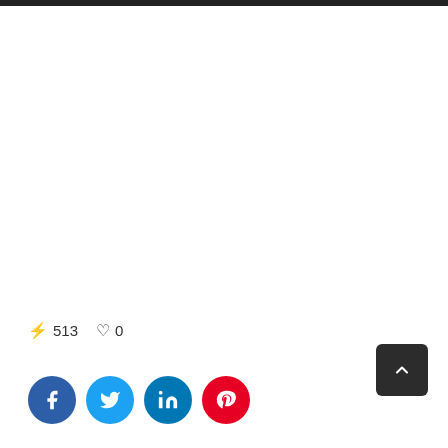⚡ 513  ♡ 0
[Figure (infographic): Social sharing buttons: Facebook (blue circle with f), Twitter (light blue circle with bird), LinkedIn (blue circle with in), Pinterest (red circle with P)]
[Figure (other): Scroll-to-top button: dark rounded square with upward chevron arrow]